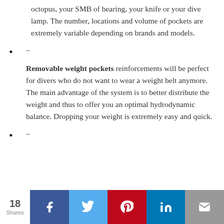octopus, your SMB of bearing, your knife or your dive lamp. The number, locations and volume of pockets are extremely variable depending on brands and models.
– (bullet dash)
Removable weight pockets reinforcements will be perfect for divers who do not want to wear a weight belt anymore. The main advantage of the system is to better distribute the weight and thus to offer you an optimal hydrodynamic balance. Dropping your weight is extremely easy and quick.
– (bullet dash)
18 Shares | Facebook | Twitter | Pinterest | LinkedIn | Email